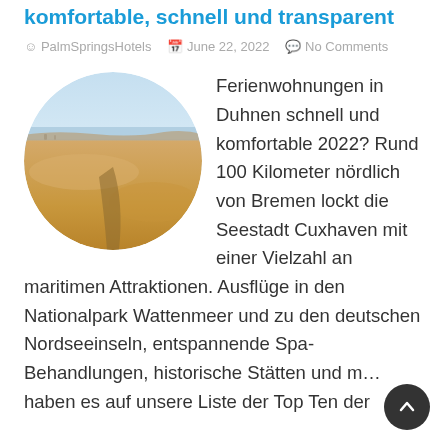komfortable, schnell und transparent
PalmSpringsHotels  June 22, 2022  No Comments
[Figure (photo): Circular cropped photo of a sandy beach at sunset with a shadow cast on the sand and calm sea in the background.]
Ferienwohnungen in Duhnen schnell und komfortable 2022? Rund 100 Kilometer nördlich von Bremen lockt die Seestadt Cuxhaven mit einer Vielzahl an maritimen Attraktionen. Ausflüge in den Nationalpark Wattenmeer und zu den deutschen Nordseeinseln, entspannende Spa-Behandlungen, historische Stätten und m… haben es auf unsere Liste der Top Ten der